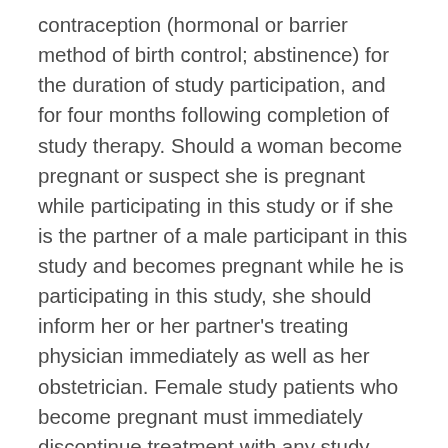contraception (hormonal or barrier method of birth control; abstinence) for the duration of study participation, and for four months following completion of study therapy. Should a woman become pregnant or suspect she is pregnant while participating in this study or if she is the partner of a male participant in this study and becomes pregnant while he is participating in this study, she should inform her or her partner's treating physician immediately as well as her obstetrician. Female study patients who become pregnant must immediately discontinue treatment with any study therapy. Male patients should avoid impregnating a female partner. Male study patients, even if surgically sterilized, (i.e. post-vasectomy) must agree to one of the following: practice effective barrier contraception during the entire study treatment period and for a specified amount of time the last dose of study drug, or completely abstain from sexual intercourse. Note: TAPUR does not explicitly exclude any type of solid tumor, but the patient must have measurable and evaluable